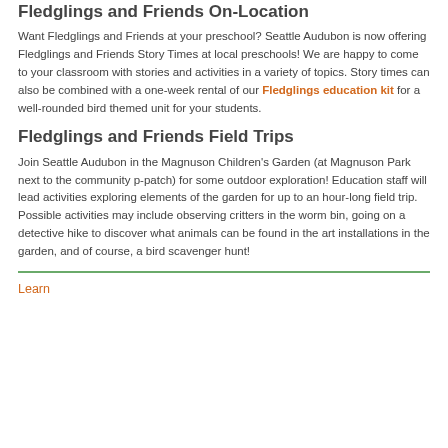Fledglings and Friends On-Location
Want Fledglings and Friends at your preschool? Seattle Audubon is now offering Fledglings and Friends Story Times at local preschools! We are happy to come to your classroom with stories and activities in a variety of topics. Story times can also be combined with a one-week rental of our Fledglings education kit for a well-rounded bird themed unit for your students.
Fledglings and Friends Field Trips
Join Seattle Audubon in the Magnuson Children's Garden (at Magnuson Park next to the community p-patch) for some outdoor exploration! Education staff will lead activities exploring elements of the garden for up to an hour-long field trip. Possible activities may include observing critters in the worm bin, going on a detective hike to discover what animals can be found in the art installations in the garden, and of course, a bird scavenger hunt!
Learn